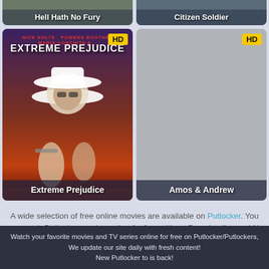[Figure (screenshot): Movie card for 'Hell Hath No Fury' partially cropped at top, showing title bar]
[Figure (screenshot): Movie card for 'Citizen Soldier' partially cropped at top, showing title bar]
[Figure (photo): Movie card for 'Extreme Prejudice' with HD badge and movie poster art showing man in white hat, with title at bottom]
[Figure (photo): Movie card for 'Amos & Andrew' with HD badge, grey placeholder image, title at bottom]
A wide selection of free online movies are available on Putlocker. You can watch Putlocker movies online for free without Downloading and No Sign Up.
Watch your favorite movies and TV series online for free on Putlocker/Putlockers, We update our site daily with fresh content! New Putlocker to is back!